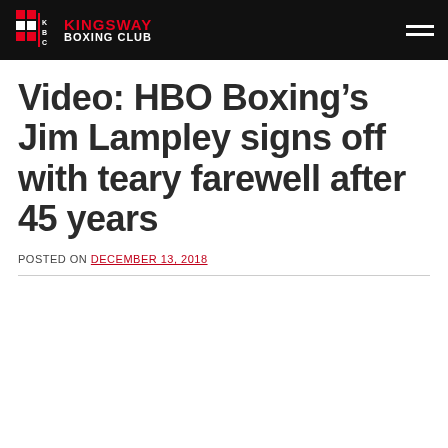Kingsway Boxing Club
Video: HBO Boxing’s Jim Lampley signs off with teary farewell after 45 years
POSTED ON DECEMBER 13, 2018